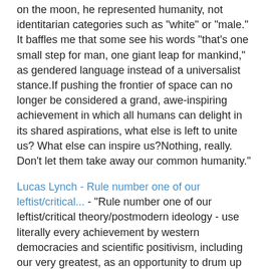on the moon, he represented humanity, not identitarian categories such as "white" or "male." It baffles me that some see his words "that's one small step for man, one giant leap for mankind," as gendered language instead of a universalist stance.If pushing the frontier of space can no longer be considered a grand, awe-inspiring achievement in which all humans can delight in its shared aspirations, what else is left to unite us? What else can inspire us?Nothing, really. Don't let them take away our common humanity."
Lucas Lynch - Rule number one of our leftist/critical... - "Rule number one of our leftist/critical theory/postmodern ideology - use literally every achievement by western democracies and scientific positivism, including our very greatest, as an opportunity to drum up identity-based or class-based grievances, even when totally not relevant.That major journalistic outlets have been publishing things like this alongside apologia for the Soviet Union show just how captured our journalistic institutions have become, thanks to decades of this theology being preached in the universities."
The Times' obscene attacks on the Apollo program - "As the